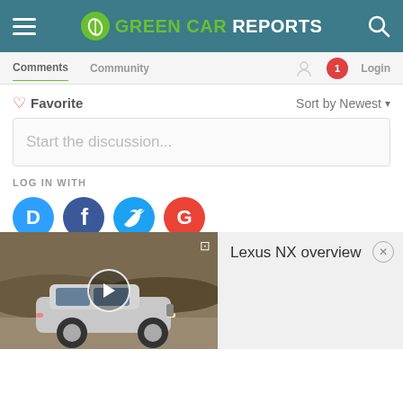GREEN CAR REPORTS
Comments  Community  Login
Favorite  Sort by Newest
Start the discussion...
LOG IN WITH
[Figure (screenshot): Social login icons: Disqus (blue), Facebook (dark blue), Twitter (light blue), Google (red)]
[Figure (screenshot): Video thumbnail showing a silver Lexus NX SUV driving on a road with play button overlay]
Lexus NX overview